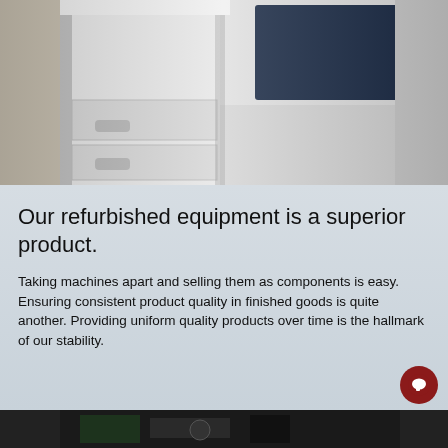[Figure (photo): Close-up photograph of white office laser printers/copiers lined up, one with a dark navy/black lid open, in an office setting with beige flooring visible in background.]
Our refurbished equipment is a superior product.
Taking machines apart and selling them as components is easy. Ensuring consistent product quality in finished goods is quite another. Providing uniform quality products over time is the hallmark of our stability.
[Figure (photo): Partial view of office equipment or machinery interior, dark tones, bottom strip of page.]